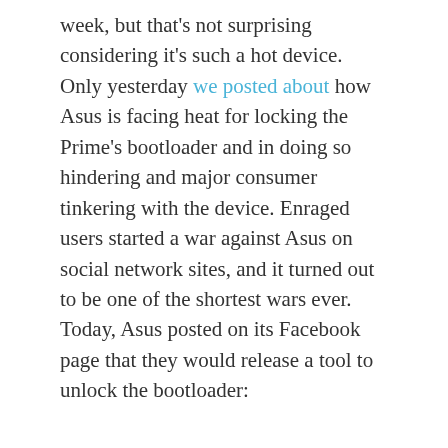week, but that's not surprising considering it's such a hot device. Only yesterday we posted about how Asus is facing heat for locking the Prime's bootloader and in doing so hindering and major consumer tinkering with the device. Enraged users started a war against Asus on social network sites, and it turned out to be one of the shortest wars ever. Today, Asus posted on its Facebook page that they would release a tool to unlock the bootloader:
[Figure (screenshot): Embedded video player showing a black screen with 'No compatible source was found for this' message, overlaid with a panel showing 'ASUS Chromebook Detach...' title in green and a thumbnail image below with an X close button]